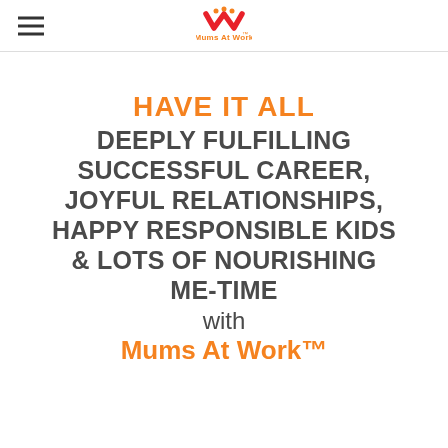Mums At Work logo with hamburger menu
HAVE IT ALL DEEPLY FULFILLING SUCCESSFUL CAREER, JOYFUL RELATIONSHIPS, HAPPY RESPONSIBLE KIDS & LOTS OF NOURISHING ME-TIME with Mums At Work™